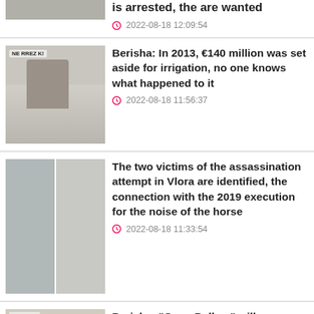[Figure (photo): Top news thumbnail (partially visible at top)]
2022-08-18 12:09:54
[Figure (photo): Photo of Berisha at a press conference with 'NE RREZ K!' banner]
Berisha: In 2013, €140 million was set aside for irrigation, no one knows what happened to it
2022-08-18 11:56:37
[Figure (photo): Split photo: mugshot on left, aerial view of car scene on right (Vlora assassination attempt)]
The two victims of the assassination attempt in Vlora are identified, the connection with the 2019 execution for the noise of the horse
2022-08-18 11:33:54
[Figure (photo): Partially visible photo of Berisha with BUJQES A / RREZ K! banner]
Berisha: "Open Balkan" will